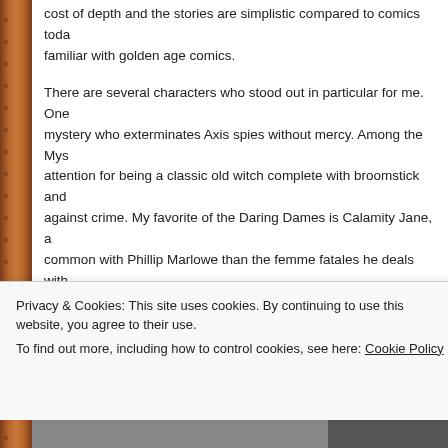cost of depth and the stories are simplistic compared to comics today. familiar with golden age comics.
There are several characters who stood out in particular for me. One mystery who exterminates Axis spies without mercy. Among the Mys attention for being a classic old witch complete with broomstick and against crime. My favorite of the Daring Dames is Calamity Jane, a common with Phillip Marlowe than the femme fatales he deals with.
Then there is Wildfire, a heroine with a magical power over flames. is a character who would be at home in the Justice Society. Wildfire abilities with wit and humor, showing the same “daring do” as Jay G Torch.
Another intriguing character is The Sorceress of Zoom, who posses world via a city on a cloud. The Sorceress is interesting because sh
Privacy & Cookies: This site uses cookies. By continuing to use this website, you agree to their use.
To find out more, including how to control cookies, see here: Cookie Policy
Close and accept